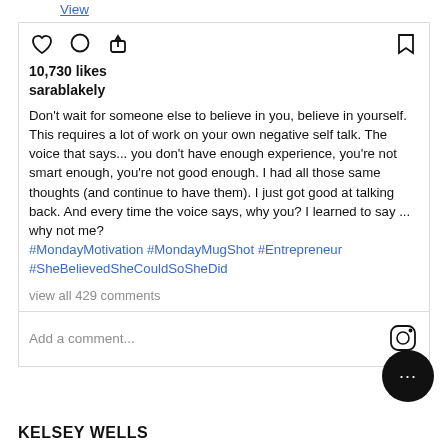View more on Instagram
[Figure (screenshot): Instagram post action icons: heart (like), comment bubble, share arrow on left; bookmark icon on right]
10,730 likes
sarablakely
Don't wait for someone else to believe in you, believe in yourself. This requires a lot of work on your own negative self talk. The voice that says... you don't have enough experience, you're not smart enough, you're not good enough. I had all those same thoughts (and continue to have them). I just got good at talking back. And every time the voice says, why you? I learned to say ... why not me? #MondayMotivation #MondayMugShot #Entrepreneur #SheBelievedSheCouldSoSheDid
view all 429 comments
Add a comment...
KELSEY WELLS